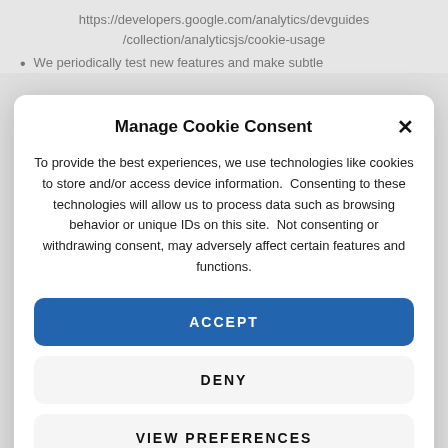https://developers.google.com/analytics/devguides/collection/analyticsjs/cookie-usage
We periodically test new features and make subtle
Manage Cookie Consent
To provide the best experiences, we use technologies like cookies to store and/or access device information.  Consenting to these technologies will allow us to process data such as browsing behavior or unique IDs on this site.  Not consenting or withdrawing consent, may adversely affect certain features and functions.
ACCEPT
DENY
VIEW PREFERENCES
Cookie Policy  Privacy Policy